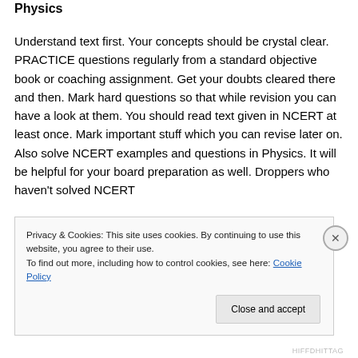Physics
Understand text first. Your concepts should be crystal clear. PRACTICE questions regularly from a standard objective book or coaching assignment. Get your doubts cleared there and then. Mark hard questions so that while revision you can have a look at them. You should read text given in NCERT at least once. Mark important stuff which you can revise later on. Also solve NCERT examples and questions in Physics. It will be helpful for your board preparation as well. Droppers who haven't solved NCERT
Privacy & Cookies: This site uses cookies. By continuing to use this website, you agree to their use.
To find out more, including how to control cookies, see here: Cookie Policy
Close and accept